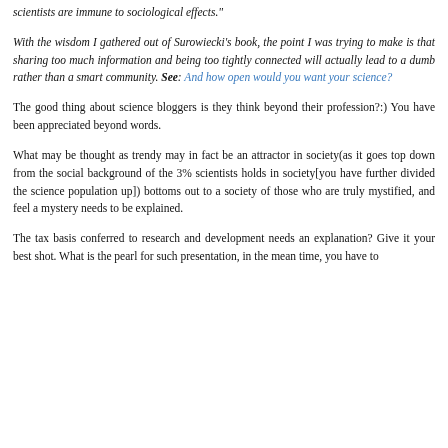scientists are immune to sociological effects."
With the wisdom I gathered out of Surowiecki's book, the point I was trying to make is that sharing too much information and being too tightly connected will actually lead to a dumb rather than a smart community. See: And how open would you want your science?
The good thing about science bloggers is they think beyond their profession?:) You have been appreciated beyond words.
What may be thought as trendy may in fact be an attractor in society(as it goes top down from the social background of the 3% scientists holds in society[you have further divided the science population up]) bottoms out to a society of those who are truly mystified, and feel a mystery needs to be explained.
The tax basis conferred to research and development needs an explanation? Give it your best shot. What is the pearl for such presentation, in the mean time, you have to